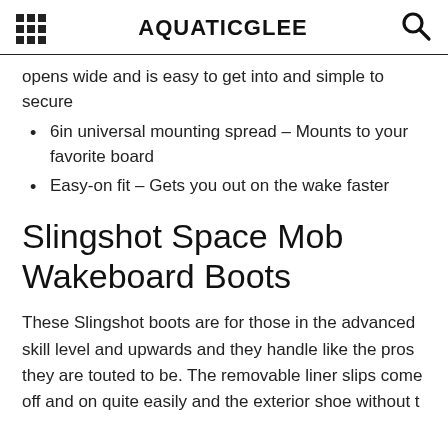AQUATICGLEE
opens wide and is easy to get into and simple to secure
6in universal mounting spread – Mounts to your favorite board
Easy-on fit – Gets you out on the wake faster
Slingshot Space Mob Wakeboard Boots
These Slingshot boots are for those in the advanced skill level and upwards and they handle like the pros they are touted to be. The removable liner slips come off and on quite easily and the exterior shoe without t